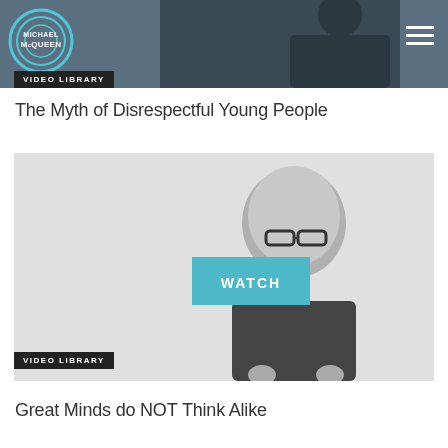[Figure (screenshot): Website header with Michael McQueen logo (circular logo on dark blue-grey background), hamburger menu icon on right, and a partial video thumbnail showing a person in dark clothing]
[Figure (illustration): VIDEO LIBRARY badge label on dark background]
The Myth of Disrespectful Young People
[Figure (screenshot): Video thumbnail showing a bald man with glasses in black and white, with a teal WATCH button overlaid in the center]
[Figure (illustration): VIDEO LIBRARY badge label on dark background]
Great Minds do NOT Think Alike